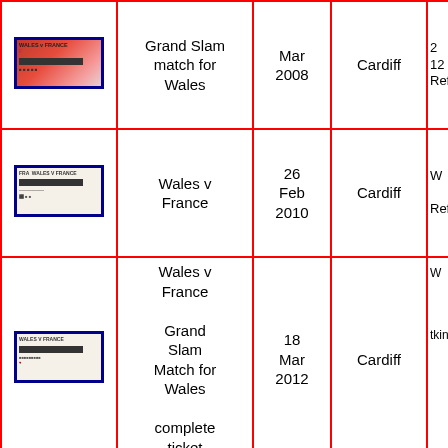| Image | Description | Date | Venue | Ref |
| --- | --- | --- | --- | --- |
| [ticket image] | Grand Slam match for Wales | Mar 2008 | Cardiff | Ref: |
| [ticket image] | Wales v France | 26 Feb 2010 | Cardiff | W Ref: |
| [ticket image] | Wales v France Grand Slam Match for Wales complete ticket | 18 Mar 2012 | Cardiff | W tkinw |
| [ticket image] | Wales v France | 21 Feb 2014 | Millennium Stadium, Cardiff | W Ref: |